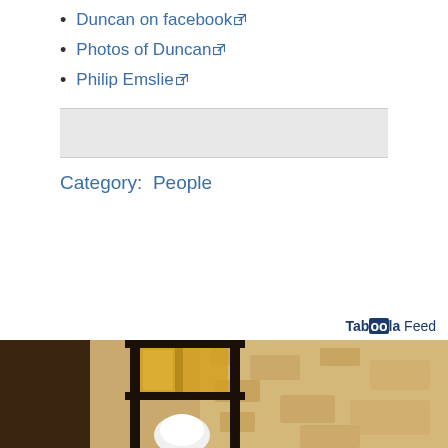Duncan on facebook
Photos of Duncan
Philip Emslie
Category:  People
Taboola Feed
[Figure (photo): Close-up photo of a lantern/wall light fixture mounted on a textured stucco wall, warm sepia/amber tones, black metal frame, white globe bulb visible at the bottom, yellow-lit glass panel]